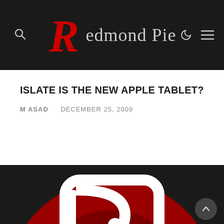Redmond Pie
ISLATE IS THE NEW APPLE TABLET?
M ASAD · DECEMBER 25, 2009
[Figure (logo): Redmond Pie logo — large red circle with white stylized R letter mark on dark background]